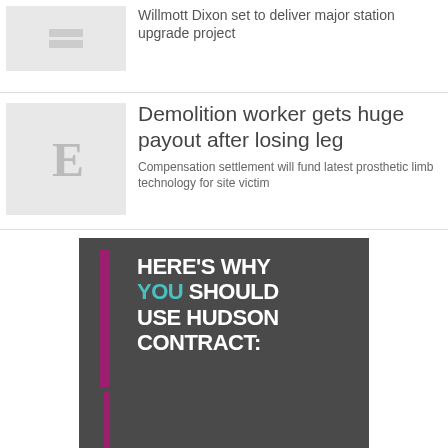Willmott Dixon set to deliver major station upgrade project
Demolition worker gets huge payout after losing leg
Compensation settlement will fund latest prosthetic limb technology for site victim
[Figure (illustration): Advertisement banner for Hudson Contract with purple stripes on dark background and bold white and teal text reading HERE'S WHY YOU SHOULD USE HUDSON CONTRACT:]